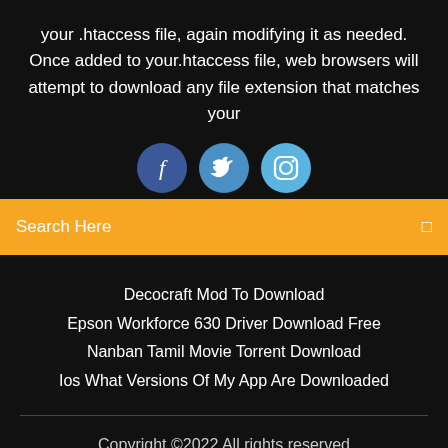your .htaccess file, again modifying it as needed. Once added to your.htaccess file, web browsers will attempt to download any file extension that matches your
[Figure (illustration): Three social media icons: Facebook (dark blue circle with 'f'), Twitter (medium blue circle with bird icon), Instagram (light blue circle with camera icon)]
Search Here
Decocraft Mod To Download
Epson Workforce 630 Driver Download Free
Nanban Tamil Movie Torrent Download
Ios What Versions Of My App Are Downloaded
Copyright ©2022 All rights reserved